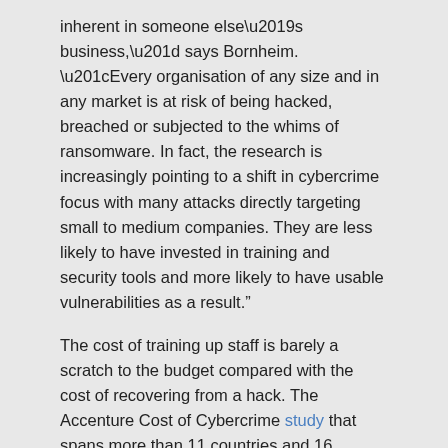inherent in someone else’s business,” says Bornheim. “Every organisation of any size and in any market is at risk of being hacked, breached or subjected to the whims of ransomware. In fact, the research is increasingly pointing to a shift in cybercrime focus with many attacks directly targeting small to medium companies. They are less likely to have invested in training and security tools and more likely to have usable vulnerabilities as a result.”
The cost of training up staff is barely a scratch to the budget compared with the cost of recovering from a hack. The Accenture Cost of Cybercrime study that spans more than 11 countries and 16 industries found that the average cost of cybercrime rose to $13 million per company in 2018. That’s far more than any company could spend on establishing a business culture that’s cyber-aware and security savvy. The same applies to the training and management of third-